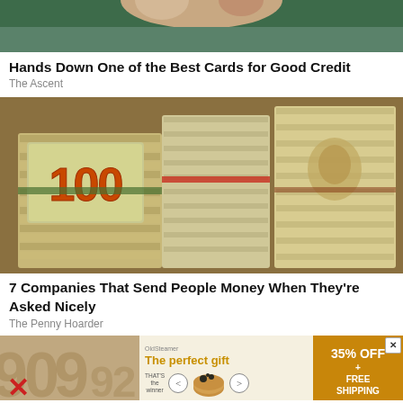[Figure (photo): Top portion of a credit card advertisement image showing hands on a green background, partially visible at top of page]
Hands Down One of the Best Cards for Good Credit
The Ascent
[Figure (photo): Stacks of bundled $100 dollar bills piled high, showing large quantities of cash]
7 Companies That Send People Money When They're Asked Nicely
The Penny Hoarder
[Figure (photo): Advertisement banner showing 'The perfect gift' with food product bowls, navigation arrows, and a 35% OFF + FREE SHIPPING offer on golden/yellow background]